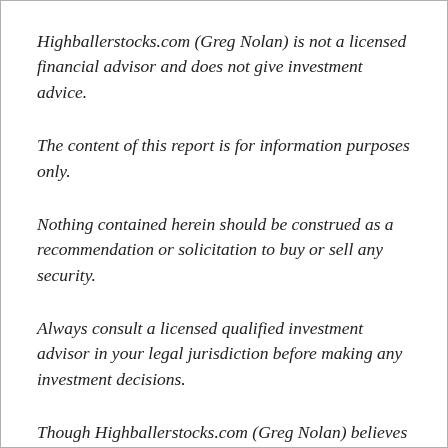Highballerstocks.com (Greg Nolan) is not a licensed financial advisor and does not give investment advice.
The content of this report is for information purposes only.
Nothing contained herein should be construed as a recommendation or solicitation to buy or sell any security.
Always consult a licensed qualified investment advisor in your legal jurisdiction before making any investment decisions.
Though Highballerstocks.com (Greg Nolan) believes its sources to be credible, and the statements contained herein